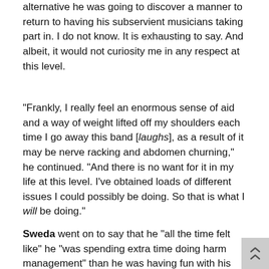alternative he was going to discover a manner to return to having his subservient musicians taking part in. I do not know. It is exhausting to say. And albeit, it would not curiosity me in any respect at this level.
"Frankly, I really feel an enormous sense of aid and a way of weight lifted off my shoulders each time I go away this band [laughs], as a result of it may be nerve racking and abdomen churning," he continued. "And there is no want for it in my life at this level. I've obtained loads of different issues I could possibly be doing. So that is what I will be doing."
Sweda went on to say that he "all the time felt like" he "was spending extra time doing harm management" than he was having fun with his time